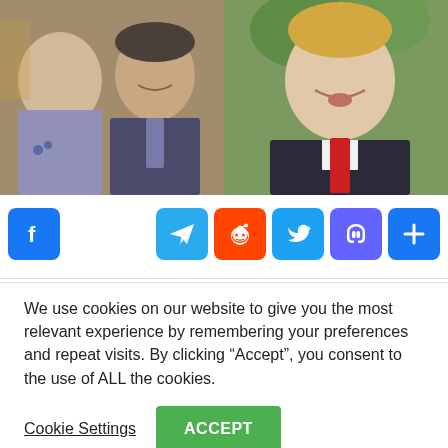[Figure (photo): Split composite photo: left side shows two men (one with back turned, another smiling man in suit with tie); right side shows a man with blond hair in a dark suit with a red tie speaking outdoors.]
[Figure (infographic): Row of social media sharing icons: Facebook (blue), then a gap, then Telegram (blue), Reddit (orange), Twitter (blue), Mastodon (purple), and a share/more button (blue plus sign).]
We use cookies on our website to give you the most relevant experience by remembering your preferences and repeat visits. By clicking “Accept”, you consent to the use of ALL the cookies.
Cookie Settings
ACCEPT